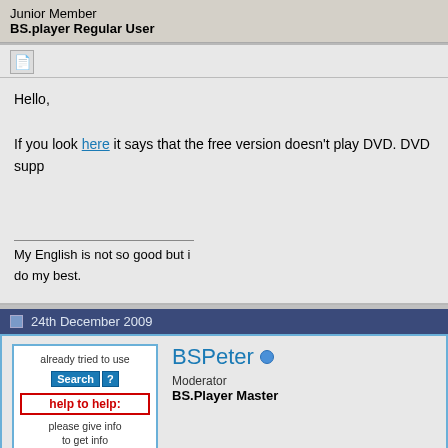Junior Member
BS.player Regular User
Hello,

If you look here it says that the free version doesn't play DVD. DVD supp
My English is not so good but i do my best.
24th December 2009
[Figure (screenshot): Already tried to use Search [?] button and help to help: please give info to get info avatar box]
BSPeter
Moderator
BS.Player Master
Quote:
Originally Posted by rko2164
thanks for the reply yes i did it asked if i wanted to install stuff i went